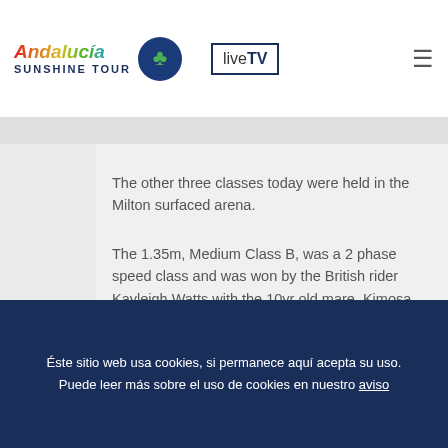Andalucía Sunshine Tour | liveTV
The other three classes today were held in the Milton surfaced arena.
The 1.35m, Medium Class B, was a 2 phase speed class and was won by the British rider Kayleigh Watts with the 10yr old mare, Kimosa Van Het Kritrahof in 23.39 sec.  In second place, Luis Sabino Gonçalves was once again successful, this time riding Adiamood de L'Abbaye in a time of 23.6 sec and in third was
Éste sitio web usa cookies, si permanece aquí acepta su uso. Puede leer más sobre el uso de cookies en nuestro aviso